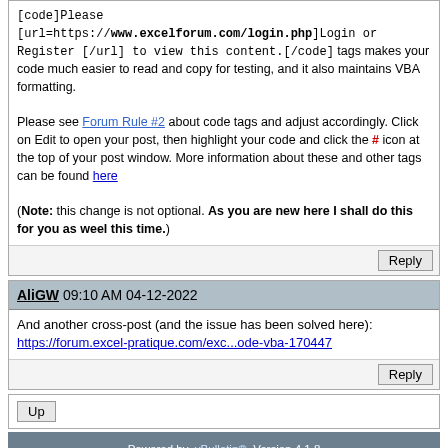[code]Please [url=https://www.excelforum.com/login.php]Login or Register [/url] to view this content.[/code] tags makes your code much easier to read and copy for testing, and it also maintains VBA formatting.

Please see Forum Rule #2 about code tags and adjust accordingly. Click on Edit to open your post, then highlight your code and click the # icon at the top of your post window. More information about these and other tags can be found here

(Note: this change is not optional. As you are new here I shall do this for you as weel this time.)
AliGW 09:10 AM 04-12-2022
And another cross-post (and the issue has been solved here):
https://forum.excel-pratique.com/exc...ode-vba-170447
Powered by vBulletin® Version 4.1.8
Copyright © 2022 vBulletin Solutions, Inc. All rights reserved.
Search Engine Friendly URLs by vBSEO 3.6.0 RC 1
Forum Modifications By Marco Mamdouh
Mobile Style by Dartho... | Default Style